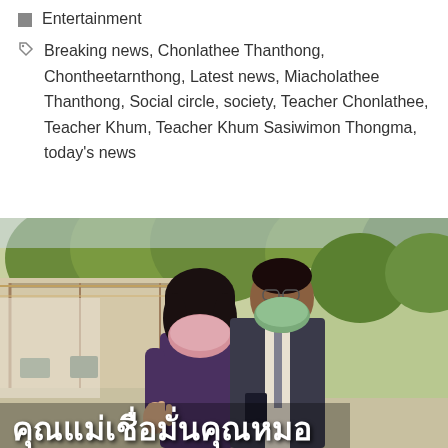Entertainment
Breaking news, Chonlathee Thanthong, Chontheetarnthong, Latest news, Miacholathee Thanthong, Social circle, society, Teacher Chonlathee, Teacher Khum, Teacher Khum Sasiwimon Thongma, today's news
[Figure (photo): Two people wearing face masks outdoors. A woman in front wearing a pink mask and glasses, a man behind her in a suit wearing a green mask and glasses. Text overlay in Thai reads คุณแม่เชื่อมั่นคุณหมอ. Background shows a covered outdoor area with trees and chairs.]